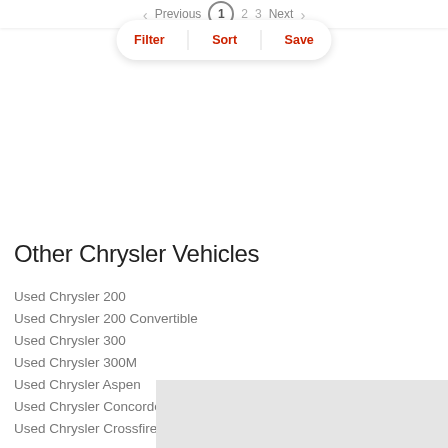Previous 1 2 3 Next
Filter | Sort | Save
Other Chrysler Vehicles
Used Chrysler 200
Used Chrysler 200 Convertible
Used Chrysler 300
Used Chrysler 300M
Used Chrysler Aspen
Used Chrysler Concorde
Used Chrysler Crossfire